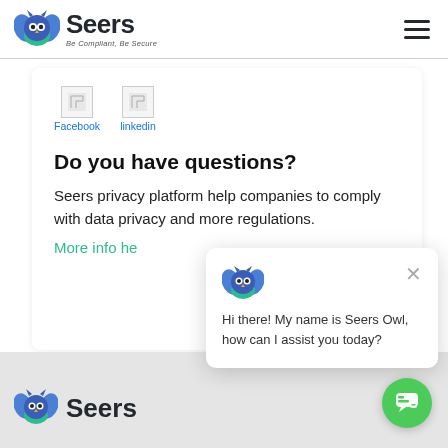[Figure (logo): Seers logo with owl icon and tagline 'Be Compliant, Be Secure']
[Figure (other): Social media icons for Facebook and LinkedIn]
Do you have questions?
Seers privacy platform help companies to comply with data privacy and more regulations.
More info he
[Figure (screenshot): Chat popup with Seers Owl icon and message: Hi there! My name is Seers Owl, how can I assist you today?]
[Figure (logo): Seers logo at bottom of page]
[Figure (other): Green circular chat button in bottom right corner]